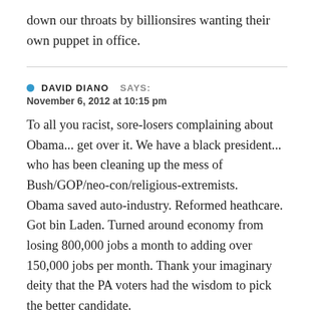down our throats by billionsires wanting their own puppet in office.
DAVID DIANO SAYS:
November 6, 2012 at 10:15 pm
To all you racist, sore-losers complaining about Obama... get over it. We have a black president... who has been cleaning up the mess of Bush/GOP/neo-con/religious-extremists.
Obama saved auto-industry. Reformed heathcare. Got bin Laden. Turned around economy from losing 800,000 jobs a month to adding over 150,000 jobs per month. Thank your imaginary deity that the PA voters had the wisdom to pick the better candidate.